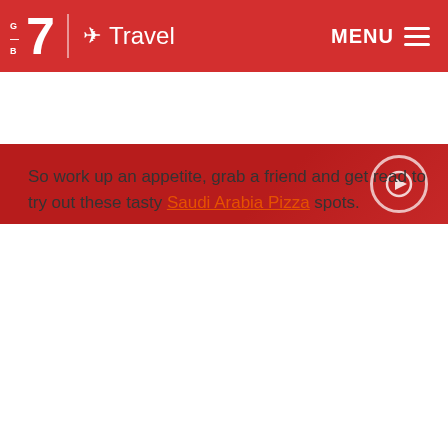Big 7 Travel | MENU
[Figure (screenshot): Red hero banner image strip with circular play/check icon on right]
So work up an appetite, grab a friend and get ready to try out these tasty Saudi Arabia Pizza spots.
Best pizza in Saudi Arabia
[Figure (screenshot): Google Maps embed showing Best pizza Saudi Arabia with map of Kuwait region visible]